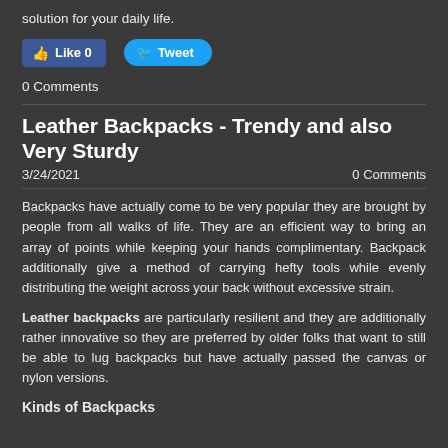solution for your daily life.
[Figure (other): Social media buttons: Facebook Like (0) and Twitter Tweet]
0 Comments
Leather Backpacks - Trendy and also Very Sturdy
3/24/2021    0 Comments
Backpacks have actually come to be very popular they are brought by people from all walks of life. They are an efficient way to bring an array of points while keeping your hands complimentary. Backpack additionally give a method of carrying hefty tools while evenly distributing the weight across your back without excessive strain.
Leather backpacks are particularly resilient and they are additionally rather innovative so they are preferred by older folks that want to still be able to lug backpacks but have actually passed the canvas or nylon versions.
Kinds of Backpacks